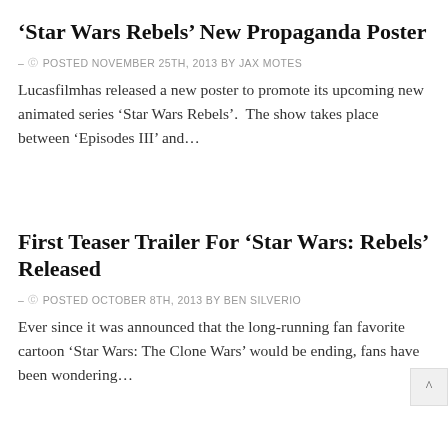‘Star Wars Rebels’ New Propaganda Poster
- © POSTED NOVEMBER 25TH, 2013 BY JAX MOTES
Lucasfilmhas released a new poster to promote its upcoming new animated series ‘Star Wars Rebels’.  The show takes place between ‘Episodes III’ and…
First Teaser Trailer For ‘Star Wars: Rebels’ Released
- © POSTED OCTOBER 8TH, 2013 BY BEN SILVERIO
Ever since it was announced that the long-running fan favorite cartoon ‘Star Wars: The Clone Wars’ would be ending, fans have been wondering…